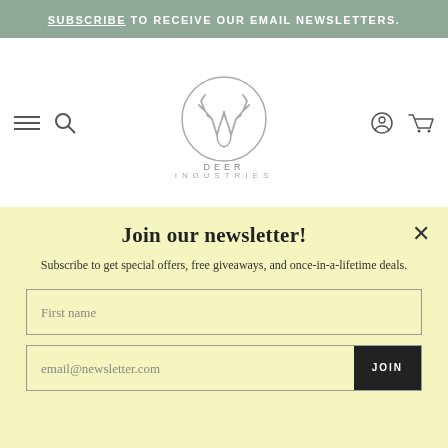SUBSCRIBE TO RECEIVE OUR EMAIL NEWSLETTERS.
[Figure (logo): Deer Industries logo — a deer antler inside a circle with text DEER INDUSTRIES below]
Join our newsletter!
Subscribe to get special offers, free giveaways, and once-in-a-lifetime deals.